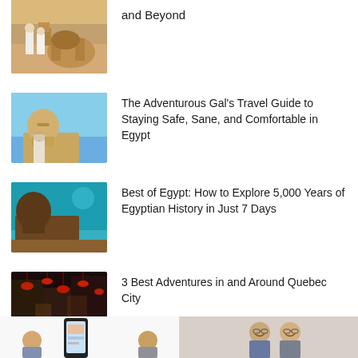and Beyond
[Figure (photo): People in white robes with a camel sitting in desert sand]
The Adventurous Gal's Travel Guide to Staying Safe, Sane, and Comfortable in Egypt
[Figure (photo): Person looking up at the Great Sphinx in Giza, Egypt, blue sky background]
Best of Egypt: How to Explore 5,000 Years of Egyptian History in Just 7 Days
[Figure (photo): The Sphinx silhouetted against a teal/blue sky]
3 Best Adventures in and Around Quebec City
[Figure (photo): Busy street with red lanterns and crowds of people at night]
[Figure (photo): Smartphone screenshot of travel app]
[Figure (photo): Elderly couple smiling]